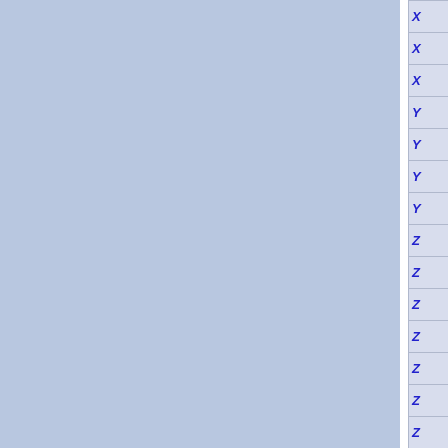[Figure (screenshot): A UI or document view showing two large blue/grey panels side by side separated by a white vertical divider, with a right sidebar containing a vertical list of single letters: X, X, X, Y, Y, Y, Y, Z, Z, Z, Z, Z, Z, Z, Z, Z, Z in blue italic font, each in its own row cell with horizontal dividers.]